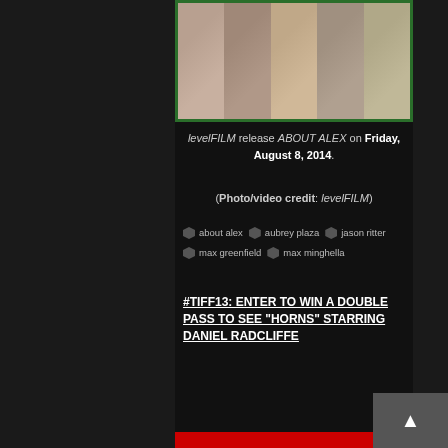[Figure (photo): Group photo of 5 people side by side in a collage strip with green border frame]
levelFILM release ABOUT ALEX on Friday, August 8, 2014.
(Photo/video credit: levelFILM)
about alex
aubrey plaza
jason ritter
max greenfield
max minghella
#TIFF13: ENTER TO WIN A DOUBLE PASS TO SEE "HORNS" STARRING DANIEL RADCLIFFE